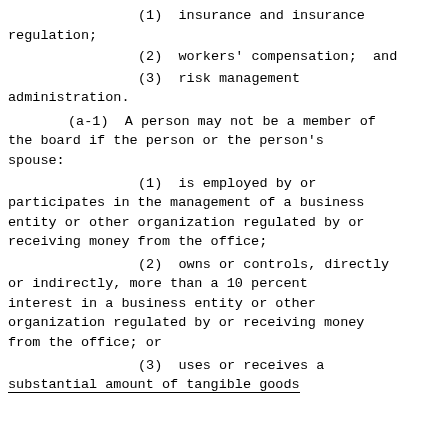(1)  insurance and insurance regulation;
(2)  workers' compensation;  and
(3)  risk management administration.
(a-1)  A person may not be a member of the board if the person or the person's spouse:
(1)  is employed by or participates in the management of a business entity or other organization regulated by or receiving money from the office;
(2)  owns or controls, directly or indirectly, more than a 10 percent interest in a business entity or other organization regulated by or receiving money from the office; or
(3)  uses or receives a substantial amount of tangible goods